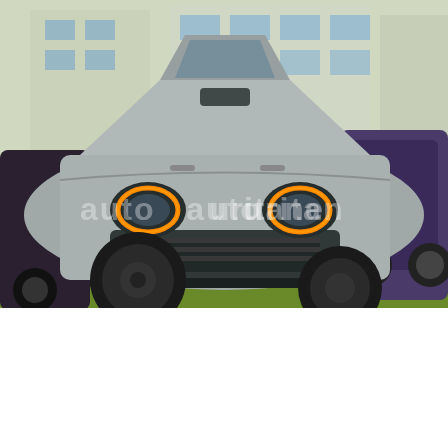[Figure (photo): Silver 2018 Dodge Challenger muscle car parked on grass in front of a dealership, front-facing view showing glowing orange halo headlights, black wheels, with a watermark reading 'automoturitane' across the center. Other cars visible in background.]
12
2018 Dodge Challenger